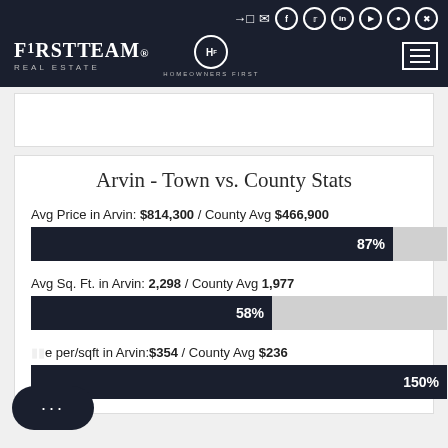FirstTeam Real Estate — Homeowners First
Arvin - Town vs. County Stats
Avg Price in Arvin: $814,300 / County Avg $466,900
[Figure (bar-chart): Avg Price bar]
Avg Sq. Ft. in Arvin: 2,298 / County Avg 1,977
[Figure (bar-chart): Avg Sq Ft bar]
Price per/sqft in Arvin:$354 / County Avg $236
[Figure (bar-chart): Price per sqft bar]